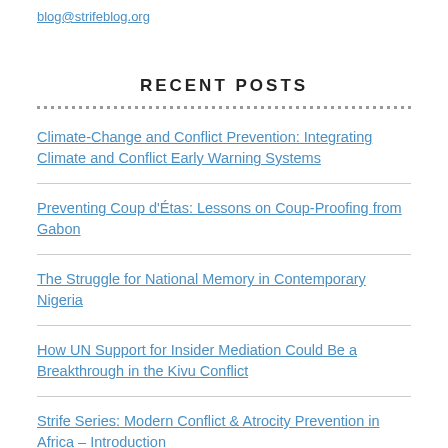blog@strifeblog.org
RECENT POSTS
Climate-Change and Conflict Prevention: Integrating Climate and Conflict Early Warning Systems
Preventing Coup d'Étas: Lessons on Coup-Proofing from Gabon
The Struggle for National Memory in Contemporary Nigeria
How UN Support for Insider Mediation Could Be a Breakthrough in the Kivu Conflict
Strife Series: Modern Conflict & Atrocity Prevention in Africa – Introduction